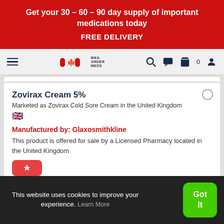Get your 30 – 60 – 90 day supply of important medications today
FREE DELIVERY
[Figure (logo): Mail Order Meds logo with red maple leaf and pill capsule icons, dark navy text reading MAIL ORDER MEDS]
Zovirax Cream 5%
Marketed as Zovirax Cold Sore Cream in the United Kingdom
Manufactured by: Glaxosmithkline
This product is offered for sale by a Licensed Pharmacy located in the United Kingdom
This website uses cookies to improve your experience. Learn More